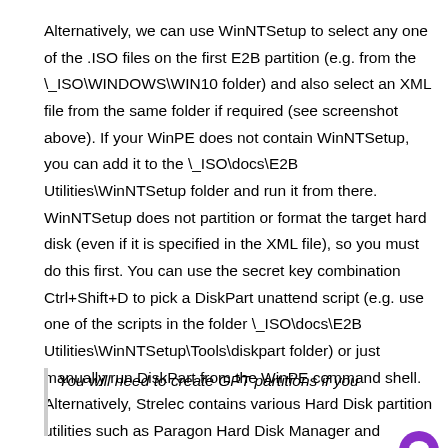Alternatively, we can use WinNTSetup to select any one of the .ISO files on the first E2B partition (e.g. from the \_ISO\WINDOWS\WIN10 folder) and also select an XML file from the same folder if required (see screenshot above). If your WinPE does not contain WinNTSetup, you can add it to the \_ISO\docs\E2B Utilities\WinNTSetup folder and run it from there. WinNTSetup does not partition or format the target hard disk (even if it is specified in the XML file), so you must do this first. You can use the secret key combination Ctrl+Shift+D to pick a DiskPart unattend script (e.g. use one of the scripts in the folder \_ISO\docs\E2B Utilities\WinNTSetup\Tools\diskpart folder) or just manually run DiskPart from the WinPE command shell. Alternatively, Strelec contains various Hard Disk partition utilities such as Paragon Hard Disk Manager and EaseUS Partition Master.
You will need to create GPT partitions if you